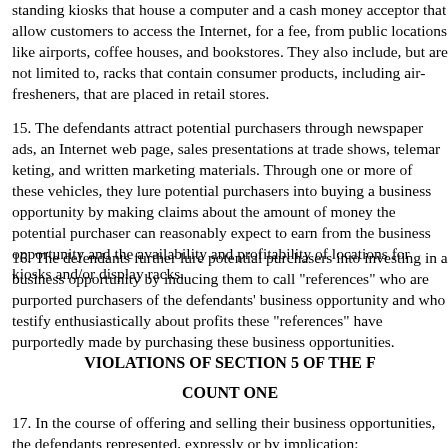standing kiosks that house a computer and a cash money acceptor that allow customers to access the Internet, for a fee, from public locations like airports, coffee houses, and bookstores. They also include, but are not limited to, racks that contain consumer products, including air-fresheners, that are placed in retail stores.
15. The defendants attract potential purchasers through newspaper ads, an Internet web page, sales presentations at trade shows, telemarketing, and written marketing materials. Through one or more of these vehicles, they lure potential purchasers into buying a business opportunity by making claims about the amount of money the potential purchaser can reasonably expect to earn from the business opportunity and the availability and profitability of locations for kiosks and/or display racks.
16. The defendants further lure potential purchasers into investing in a business opportunity by inducing them to call "references" who are purported purchasers of the defendants' business opportunity and who testify enthusiastically about profits these "references" have purportedly made by purchasing these business opportunities.
VIOLATIONS OF SECTION 5 OF THE F
COUNT ONE
17. In the course of offering and selling their business opportun... represented, expressly or by implication;